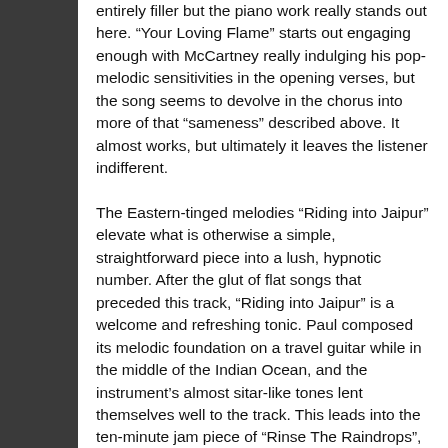entirely filler but the piano work really stands out here. “Your Loving Flame” starts out engaging enough with McCartney really indulging his pop-melodic sensitivities in the opening verses, but the song seems to devolve in the chorus into more of that “sameness” described above. It almost works, but ultimately it leaves the listener indifferent.
The Eastern-tinged melodies “Riding into Jaipur” elevate what is otherwise a simple, straightforward piece into a lush, hypnotic number. After the glut of flat songs that preceded this track, “Riding into Jaipur” is a welcome and refreshing tonic. Paul composed its melodic foundation on a travel guitar while in the middle of the Indian Ocean, and the instrument’s almost sitar-like tones lent themselves well to the track. This leads into the ten-minute jam piece of “Rinse The Raindrops”, which features two verses of lyrics and then a whole lot of in-studio jamming. There’s a really strong 3 minute song in here. The rest is Paul in experimental territory, and if it weren’t for the purposes for reviewing the album as a whole, I wouldn’t bother with the entirety of the